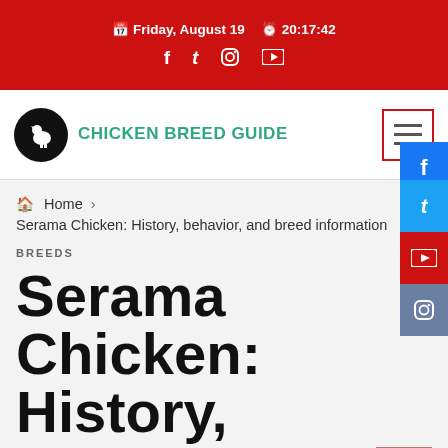Friday, August 19  20:17:42
[Figure (logo): Chicken Breed Guide logo with black circle icon and green text]
Home › Serama Chicken: History, behavior, and breed information
BREEDS
Serama Chicken: History, behavior,